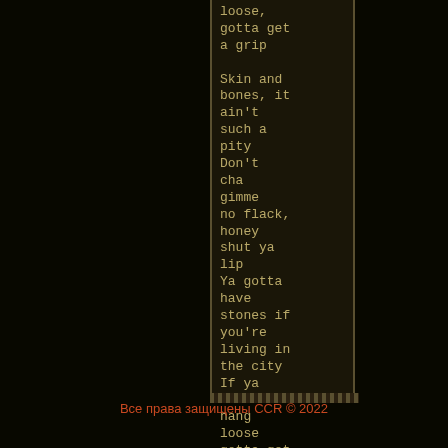loose, gotta get a grip

Skin and bones, it ain't such a pity
Don't cha gimme no flack, honey shut ya lip
Ya gotta have stones if you're living in the city
If ya wanna hang loose gotta get a grip
Все права защищены CCR © 2022